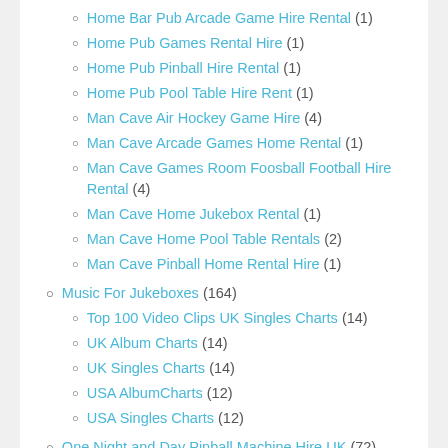Home Bar Pub Arcade Game Hire Rental (1)
Home Pub Games Rental Hire (1)
Home Pub Pinball Hire Rental (1)
Home Pub Pool Table Hire Rent (1)
Man Cave Air Hockey Game Hire (4)
Man Cave Arcade Games Home Rental (1)
Man Cave Games Room Foosball Football Hire Rental (4)
Man Cave Home Jukebox Rental (1)
Man Cave Home Pool Table Rentals (2)
Man Cave Pinball Home Rental Hire (1)
Music For Jukeboxes (164)
Top 100 Video Clips UK Singles Charts (14)
UK Album Charts (14)
UK Singles Charts (14)
USA AlbumCharts (12)
USA Singles Charts (12)
One Night and Day Pinball Machine Hire UK (72)